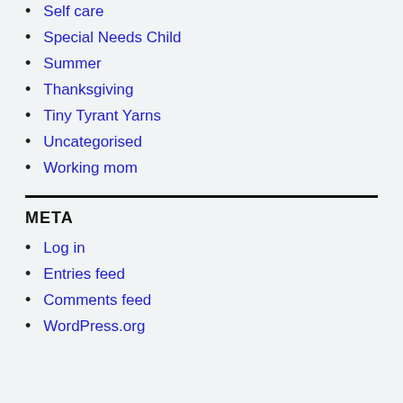Self care
Special Needs Child
Summer
Thanksgiving
Tiny Tyrant Yarns
Uncategorised
Working mom
META
Log in
Entries feed
Comments feed
WordPress.org